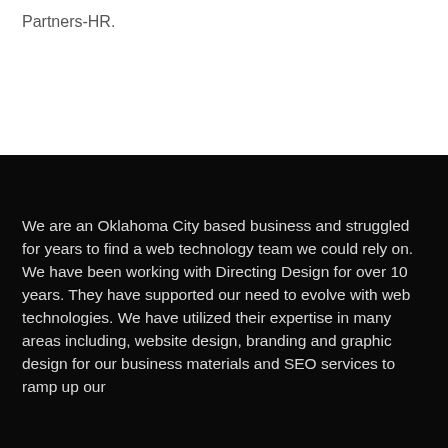Partners-HR.
We are an Oklahoma City based business and struggled for years to find a web technology team we could rely on. We have been working with Directing Design for over 10 years. They have supported our need to evolve with web technologies. We have utilized their expertise in many areas including, website design, branding and graphic design for our business materials and SEO services to ramp up our